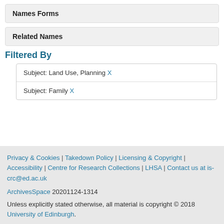Names Forms
Related Names
Filtered By
Subject: Land Use, Planning X
Subject: Family X
Privacy & Cookies | Takedown Policy | Licensing & Copyright | Accessibility | Centre for Research Collections | LHSA | Contact us at is-crc@ed.ac.uk
ArchivesSpace 20201124-1314
Unless explicitly stated otherwise, all material is copyright © 2018 University of Edinburgh.